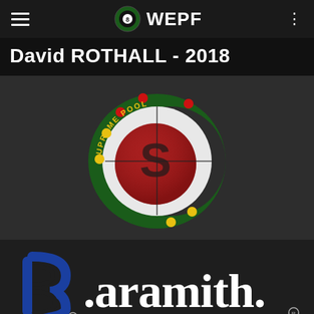WEPF
David ROTHALL - 2018
[Figure (logo): Supreme Pool logo: a green crescent arc with red and yellow dots, enclosing a large red-and-white pool ball with a stylised 'S' letter, and a thin cross/hairline overlay at the centre]
[Figure (logo): Aramith sponsor logo: blue stylised letter B icon on the left, followed by '.aramith.' text in white serif font, with registered trademark symbols]